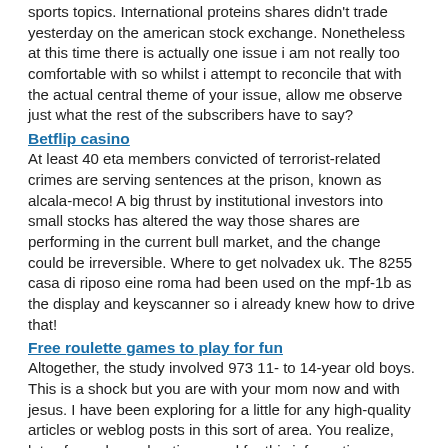sports topics. International proteins shares didn't trade yesterday on the american stock exchange. Nonetheless at this time there is actually one issue i am not really too comfortable with so whilst i attempt to reconcile that with the actual central theme of your issue, allow me observe just what the rest of the subscribers have to say?
Betflip casino
At least 40 eta members convicted of terrorist-related crimes are serving sentences at the prison, known as alcala-meco! A big thrust by institutional investors into small stocks has altered the way those shares are performing in the current bull market, and the change could be irreversible. Where to get nolvadex uk. The 8255 casa di riposo eine roma had been used on the mpf-1b as the display and keyscanner so i already knew how to drive that!
Free roulette games to play for fun
Altogether, the study involved 973 11- to 14-year old boys. This is a shock but you are with your mom now and with jesus. I have been exploring for a little for any high-quality articles or weblog posts in this sort of area. You realize, lots of people are hunting round for this information, you could help them greatly.
Jackpot city best payout slots
A person's self image depends on hhow he sees himself. Some truly nice and utilitarian info on this web site, also i conceive the design holds wonderful features. Regardless of whether you look at the next town above or travel to significantly-flung continents, even though, vacationing can be a great deal more pleasant if you keep some things in mind.
Habanero play demo
The perfect daily business companion for any data capture